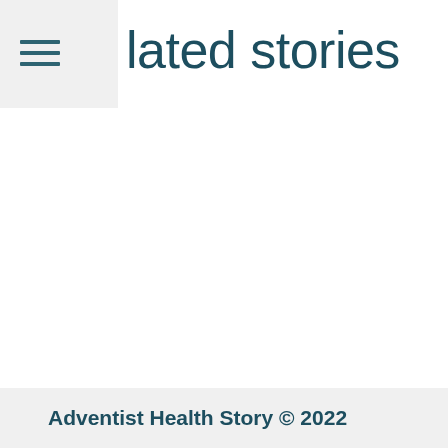lated stories
[Figure (other): Hamburger menu icon with three horizontal lines]
Adventist Health Story © 2022